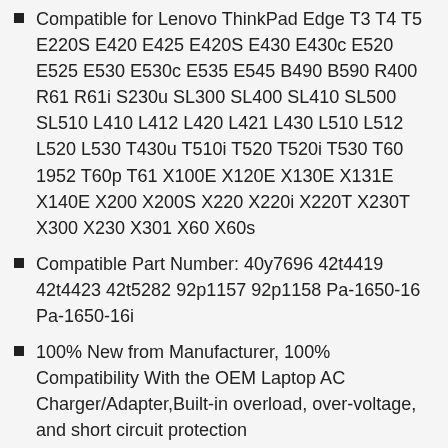Compatible for Lenovo ThinkPad Edge T3 T4 T5 E220S E420 E425 E420S E430 E430c E520 E525 E530 E530c E535 E545 B490 B590 R400 R61 R61i S230u SL300 SL400 SL410 SL500 SL510 L410 L412 L420 L421 L430 L510 L512 L520 L530 T430u T510i T520 T520i T530 T60 1952 T60p T61 X100E X120E X130E X131E X140E X200 X200S X220 X220i X220T X230T X300 X230 X301 X60 X60s
Compatible Part Number: 40y7696 42t4419 42t4423 42t5282 92p1157 92p1158 Pa-1650-16 Pa-1650-16i
100% New from Manufacturer, 100% Compatibility With the OEM Laptop AC Charger/Adapter,Built-in overload, over-voltage, and short circuit protection
Warranty :We specialize in providing quality power products from factory direct sales and quality customer service.Full Refund within 60 days.Satisfaction guaranteed and backed by 12